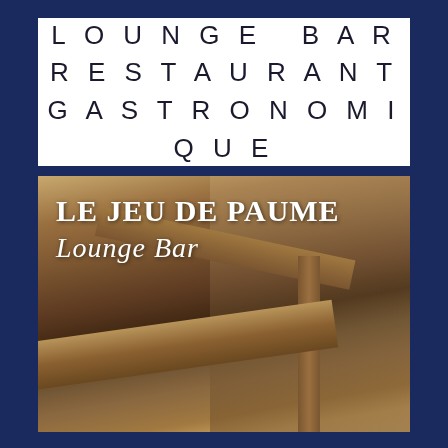LOUNGE BAR RESTAURANT GASTRONOMIQUE
[Figure (photo): Interior photo of Le Jeu de Paume Lounge Bar showing rustic wooden beams and timber-frame architecture of an old French building, with multiple levels visible. White text overlaid reads 'LE JEU DE PAUME' and 'Lounge Bar'.]